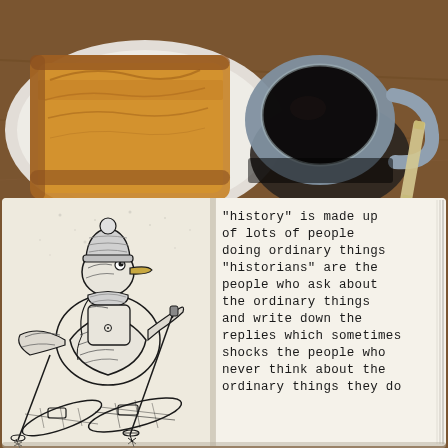[Figure (photo): Overhead photo of a wooden table with toast on a white plate and a mug of black coffee on a dark coaster, with a pencil to the right, and an open notebook/sketchbook in the lower portion of the image. The sketchbook shows a pencil drawing of a bird dressed in winter clothing (hat, scarf, coat) on snowshoes, and handwritten text on the right page.]
"history" is made up of lots of people doing ordinary things "historians" are the people who ask about the ordinary things and write down the replies which sometimes shocks the people who never think about the ordinary things they do